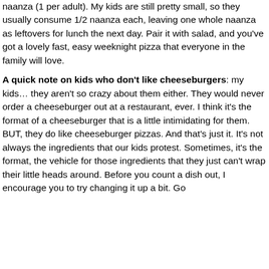naanza (1 per adult). My kids are still pretty small, so they usually consume 1/2 naanza each, leaving one whole naanza as leftovers for lunch the next day.  Pair it with salad, and you've got a lovely fast, easy weeknight pizza that everyone in the family will love.
A quick note on kids who don't like cheeseburgers: my kids… they aren't so crazy about them either. They would never order a cheeseburger out at a restaurant, ever.  I think it's the format of a cheeseburger that is a little intimidating for them.  BUT, they do like cheeseburger pizzas.  And that's just it.  It's not always the ingredients that our kids protest.  Sometimes, it's the format, the vehicle for those ingredients that they just can't wrap their little heads around.  Before you count a dish out, I encourage you to try changing it up a bit.  Go